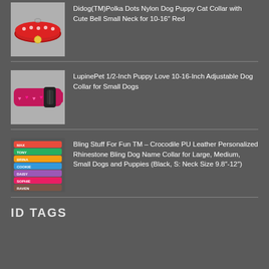[Figure (photo): Red nylon dog collar with polka dots and a small bell]
Didog(TM)Polka Dots Nylon Dog Puppy Cat Collar with Cute Bell Small Neck for 10-16" Red
[Figure (photo): Pink/purple patterned adjustable dog collar with quick-release buckle]
LupinePet 1/2-Inch Puppy Love 10-16-Inch Adjustable Dog Collar for Small Dogs
[Figure (photo): Stack of colorful rhinestone bling personalized name dog collars]
Bling Stuff For Fun TM – Crocodile PU Leather Personalized Rhinestone Bling Dog Name Collar for Large, Medium, Small Dogs and Puppies (Black, S: Neck Size 9.8"-12")
ID TAGS